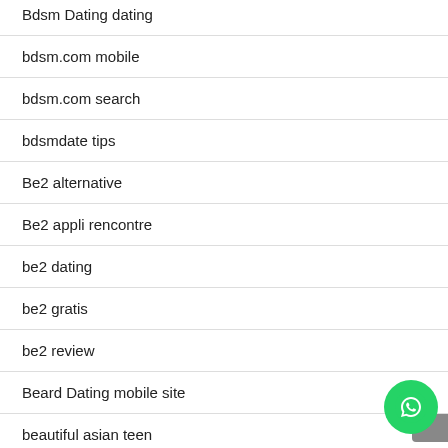Bdsm Dating dating
bdsm.com mobile
bdsm.com search
bdsmdate tips
Be2 alternative
Be2 appli rencontre
be2 dating
be2 gratis
be2 review
Beard Dating mobile site
beautiful asian teen
beautiful ukrainian women
beautifulpeople bewertung